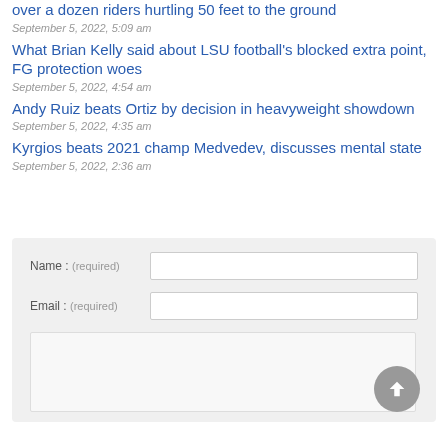over a dozen riders hurtling 50 feet to the ground
September 5, 2022, 5:09 am
What Brian Kelly said about LSU football's blocked extra point, FG protection woes
September 5, 2022, 4:54 am
Andy Ruiz beats Ortiz by decision in heavyweight showdown
September 5, 2022, 4:35 am
Kyrgios beats 2021 champ Medvedev, discusses mental state
September 5, 2022, 2:36 am